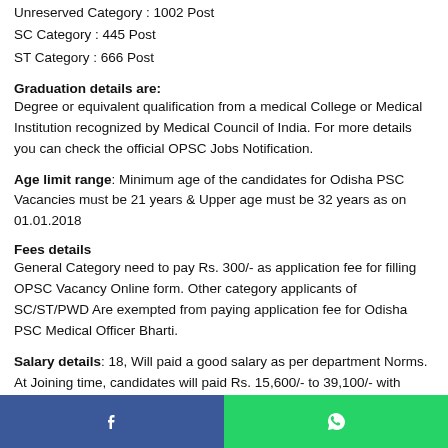Unreserved Category : 1002 Post
SC Category : 445 Post
ST Category : 666 Post
Graduation details are:
Degree or equivalent qualification from a medical College or Medical Institution recognized by Medical Council of India. For more details you can check the official OPSC Jobs Notification.
Age limit range: Minimum age of the candidates for Odisha PSC Vacancies must be 21 years & Upper age must be 32 years as on 01.01.2018
Fees details
General Category need to pay Rs. 300/- as application fee for filling OPSC Vacancy Online form. Other category applicants of SC/ST/PWD Are exempted from paying application fee for Odisha PSC Medical Officer Bharti.
Salary details: 18, Will paid a good salary as per department Norms. At Joining time, candidates will paid Rs. 15,600/- to 39,100/- with grade pay of Rs. 5,400/- for Medical Officer Vacancies.
Process of Interview
Written exam – 70%